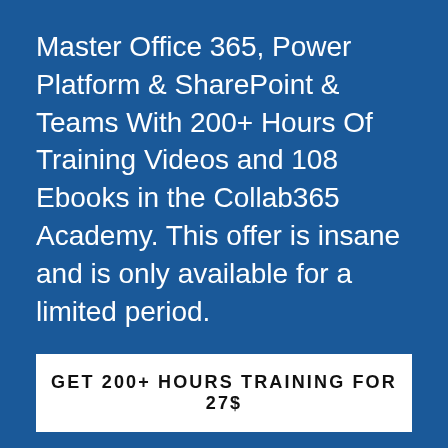Master Office 365, Power Platform & SharePoint & Teams With 200+ Hours Of Training Videos and 108 Ebooks in the Collab365 Academy. This offer is insane and is only available for a limited period.
GET 200+ HOURS TRAINING FOR 27$
POPULAR LINKS
Ultimate Guide to Microsoft Forms
What's in a Microsoft 365 subscription?